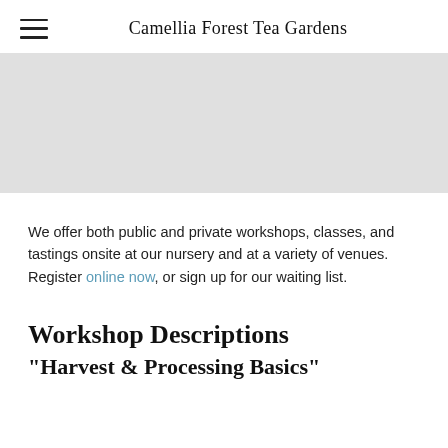Camellia Forest Tea Gardens
[Figure (photo): Gray placeholder hero image banner]
We offer both public and private workshops, classes, and tastings onsite at our nursery and at a variety of venues. Register online now, or sign up for our waiting list.
Workshop Descriptions
"Harvest & Processing Basics"